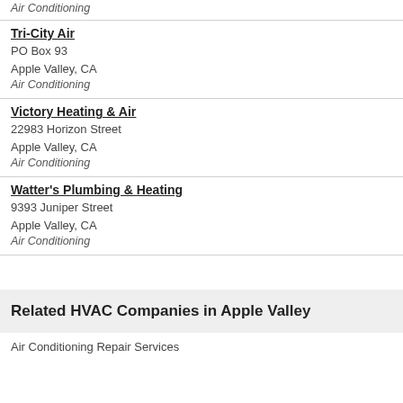Air Conditioning
Tri-City Air
PO Box 93
Apple Valley, CA
Air Conditioning
Victory Heating & Air
22983 Horizon Street
Apple Valley, CA
Air Conditioning
Watter's Plumbing & Heating
9393 Juniper Street
Apple Valley, CA
Air Conditioning
Related HVAC Companies in Apple Valley
Air Conditioning Repair Services